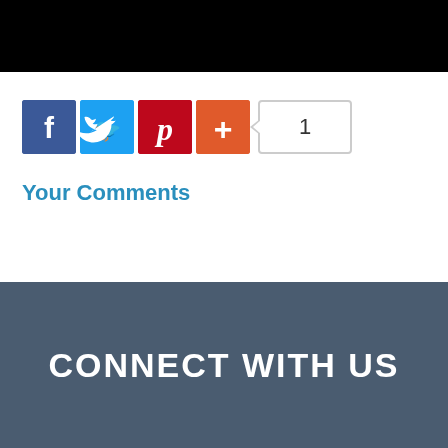[Figure (screenshot): Black bar at top of page (navigation or image area)]
[Figure (infographic): Social share buttons: Facebook (blue), Twitter (light blue), Pinterest (red), Plus/share (orange-red), and a count box showing '1']
Your Comments
CONNECT WITH US